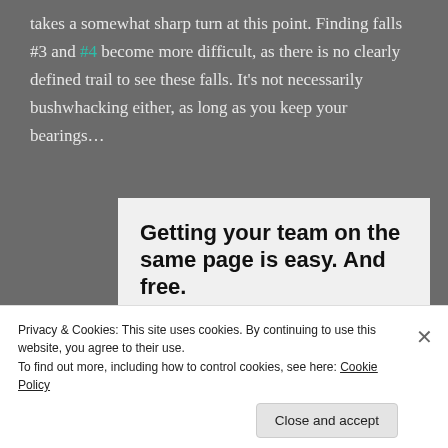takes a somewhat sharp turn at this point. Finding falls #3 and #4 become more difficult, as there is no clearly defined trail to see these falls. It's not necessarily bushwhacking either, as long as you keep your bearings...
[Figure (screenshot): Advertisement card with text 'Getting your team on the same page is easy. And free.' and three person avatars plus a blue circle with a plus sign.]
Privacy & Cookies: This site uses cookies. By continuing to use this website, you agree to their use.
To find out more, including how to control cookies, see here: Cookie Policy
Close and accept